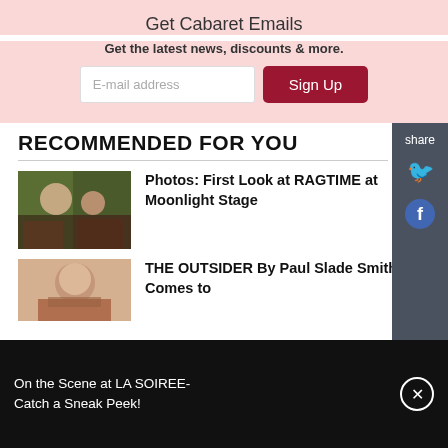Get Cabaret Emails
Get the latest news, discounts & more.
RECOMMENDED FOR YOU
[Figure (photo): Two performers from RAGTIME at Moonlight Stage]
Photos: First Look at RAGTIME at Moonlight Stage
[Figure (photo): Headshot of performer for THE OUTSIDER By Paul Slade Smith]
THE OUTSIDER By Paul Slade Smith Comes to
On the Scene at LA SOIREE- Catch a Sneak Peek!